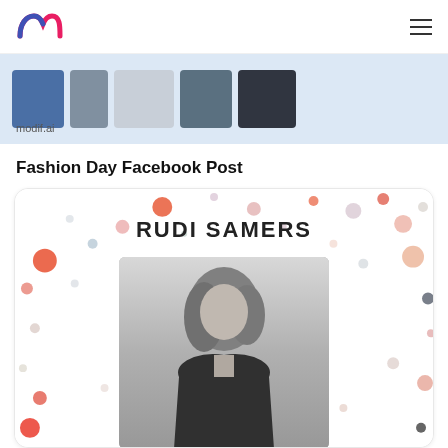modif.ai (logo) | hamburger menu
[Figure (screenshot): modif.ai banner showing fashion photos on light blue background with modif.ai label]
Fashion Day Facebook Post
[Figure (illustration): Fashion card for Rudi Samers with colorful dots decoration on white background. Black and white photo of a woman with long wavy hair wearing a dark blazer, centered in the card. Text 'RUDI SAMERS' in hand-written style at top.]